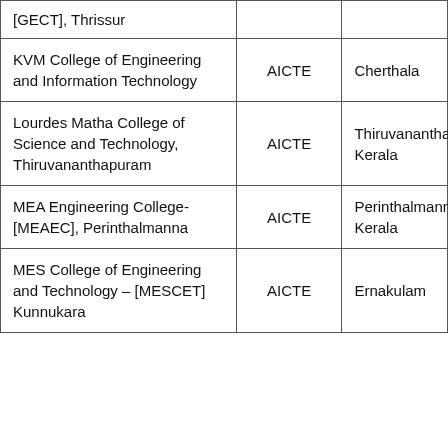| [GECT], Thrissur |  |  |
| KVM College of Engineering and Information Technology | AICTE | Cherthala |
| Lourdes Matha College of Science and Technology, Thiruvananthapuram | AICTE | Thiruvananthapuram, Kerala |
| MEA Engineering College- [MEAEC], Perinthalmanna | AICTE | Perinthalmanna, Kerala |
| MES College of Engineering and Technology – [MESCET] Kunnukara | AICTE | Ernakulam |